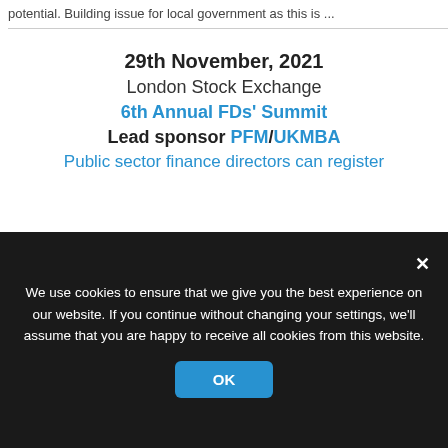potential. Building issue for local government as this is...
29th November, 2021
London Stock Exchange
6th Annual FDs' Summit
Lead sponsor PFM/UKMBA
Public sector finance directors can register
In the last half of the decade, we have seen the issuance of s
We use cookies to ensure that we give you the best experience on our website. If you continue without changing your settings, we'll assume that you are happy to receive all cookies from this website.